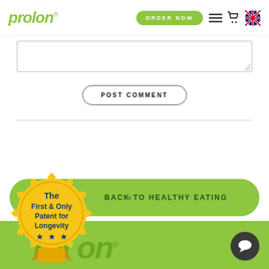[Figure (logo): ProLon green italic logo with registered trademark symbol in navbar]
[Figure (screenshot): ORDER NOW green pill button in navbar]
[Figure (screenshot): Hamburger menu, shopping cart, and UK flag icons in navbar]
[Figure (screenshot): Empty textarea input box with resize handle]
[Figure (screenshot): POST COMMENT button with rounded border outline]
[Figure (screenshot): Gold seal badge: The First & Only Patent for Longevity with stars]
BACK TO HEALTHY EATING
[Figure (logo): ProLon large green logo text on green footer background]
[Figure (screenshot): Dark chat bubble button at bottom right]